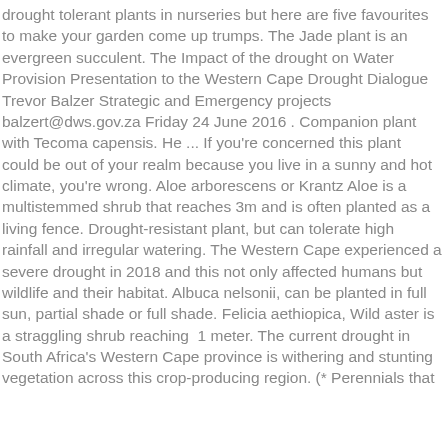drought tolerant plants in nurseries but here are five favourites to make your garden come up trumps. The Jade plant is an evergreen succulent. The Impact of the drought on Water Provision Presentation to the Western Cape Drought Dialogue Trevor Balzer Strategic and Emergency projects balzert@dws.gov.za Friday 24 June 2016 . Companion plant with Tecoma capensis. He ... If you're concerned this plant could be out of your realm because you live in a sunny and hot climate, you're wrong. Aloe arborescens or Krantz Aloe is a multistemmed shrub that reaches 3m and is often planted as a living fence. Drought-resistant plant, but can tolerate high rainfall and irregular watering. The Western Cape experienced a severe drought in 2018 and this not only affected humans but wildlife and their habitat. Albuca nelsonii, can be planted in full sun, partial shade or full shade. Felicia aethiopica, Wild aster is a straggling shrub reaching 1 meter. The current drought in South Africa's Western Cape province is withering and stunting vegetation across this crop-producing region. (* Perennials that